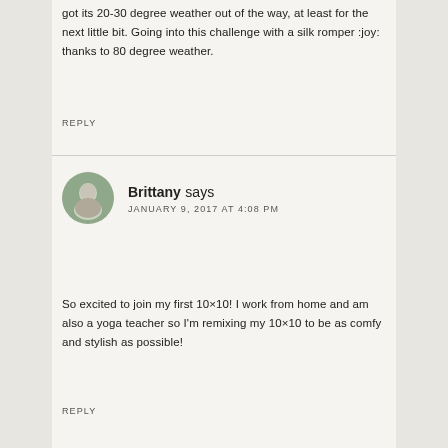got its 20-30 degree weather out of the way, at least for the next little bit. Going into this challenge with a silk romper :joy: thanks to 80 degree weather.
REPLY
Brittany says JANUARY 9, 2017 AT 4:08 PM
So excited to join my first 10×10! I work from home and am also a yoga teacher so I'm remixing my 10×10 to be as comfy and stylish as possible!
REPLY